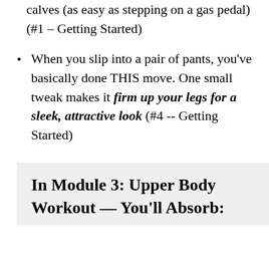calves (as easy as stepping on a gas pedal) (#1 – Getting Started)
When you slip into a pair of pants, you've basically done THIS move. One small tweak makes it firm up your legs for a sleek, attractive look (#4 -- Getting Started)
In Module 3: Upper Body Workout — You'll Absorb: